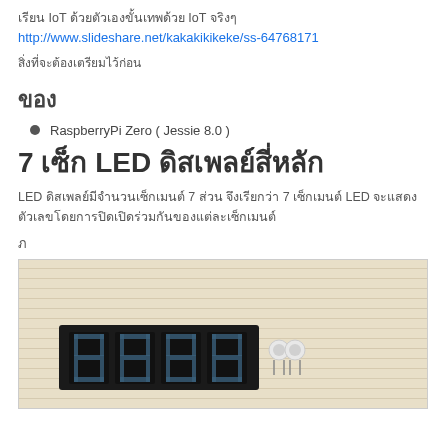เรียน IoT ด้วยตัวเองขั้นเทพด้วย IoT จริงๆ
http://www.slideshare.net/kakakikikeke/ss-64768171
สิ่งที่จะต้องเตรียมไว้ก่อน
ของ
RaspberryPi Zero ( Jessie 8.0 )
7 เซ็ก LED ดิสเพลย์สี่หลัก
LED ดิสเพลย์มีจำนวนเซ็กเมนต์ 7 ส่วน จึงเรียกว่า 7 เซ็กเมนต์ LED จะแสดงตัวเลขโดยการปิดเปิดร่วมกันของแต่ละเซ็กเมนต์
ภ
[Figure (photo): Photo of a 7-segment LED display module with 4 digits on a breadboard on a wooden surface]